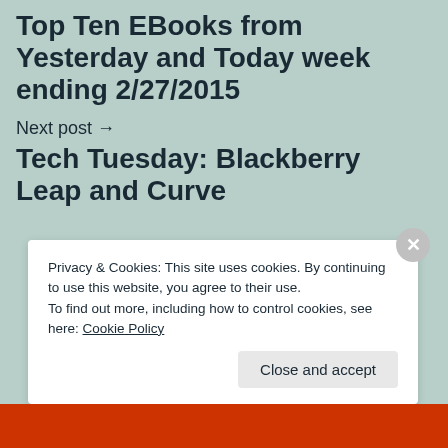Top Ten EBooks from Yesterday and Today week ending 2/27/2015
Next post →
Tech Tuesday: Blackberry Leap and Curve
Privacy & Cookies: This site uses cookies. By continuing to use this website, you agree to their use.
To find out more, including how to control cookies, see here: Cookie Policy
Close and accept